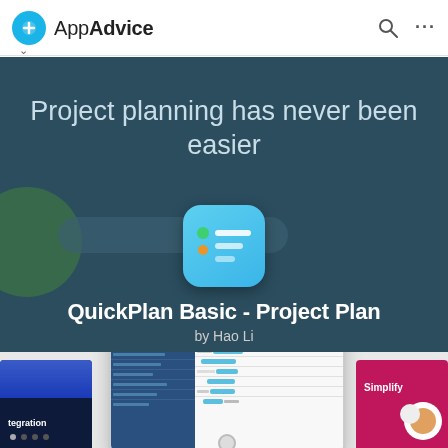AppAdvice
[Figure (screenshot): AppAdvice webpage showing QuickPlan Basic - Project Plan app. Hero section with dark teal background, text 'Project planning has never been easier', app icon, app name and developer. Below is a row of screenshots including integration screen, iPad app screenshot loading, and Simplify screen.]
Project planning has never been easier
QuickPlan Basic - Project Plan
by Hao Li